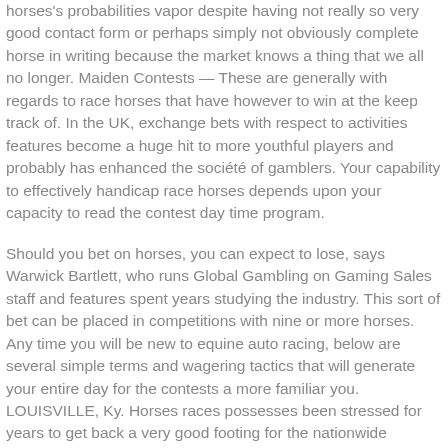horses's probabilities vapor despite having not really so very good contact form or perhaps simply not obviously complete horse in writing because the market knows a thing that we all no longer. Maiden Contests — These are generally with regards to race horses that have however to win at the keep track of. In the UK, exchange bets with respect to activities features become a huge hit to more youthful players and probably has enhanced the société of gamblers. Your capability to effectively handicap race horses depends upon your capacity to read the contest day time program.
Should you bet on horses, you can expect to lose, says Warwick Bartlett, who runs Global Gambling on Gaming Sales staff and features spent years studying the industry. This sort of bet can be placed in competitions with nine or more horses. Any time you will be new to equine auto racing, below are several simple terms and wagering tactics that will generate your entire day for the contests a more familiar you. LOUISVILLE, Ky. Horses races possesses been stressed for years to get back a very good footing for the nationwide activities landscape designs, and owners aspire to